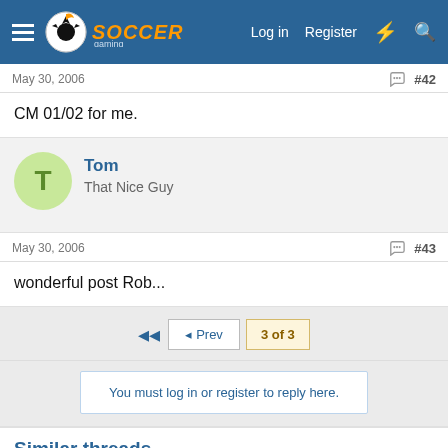Soccer Gaming — Log in | Register
May 30, 2006   #42
CM 01/02 for me.
Tom — That Nice Guy
May 30, 2006   #43
wonderful post Rob...
◄◄  ◄ Prev   3 of 3
You must log in or register to reply here.
Similar threads
FIP14 v5 Request thread